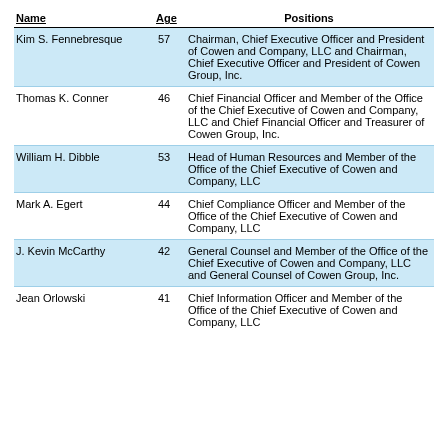| Name | Age | Positions |
| --- | --- | --- |
| Kim S. Fennebresque | 57 | Chairman, Chief Executive Officer and President of Cowen and Company, LLC and Chairman, Chief Executive Officer and President of Cowen Group, Inc. |
| Thomas K. Conner | 46 | Chief Financial Officer and Member of the Office of the Chief Executive of Cowen and Company, LLC and Chief Financial Officer and Treasurer of Cowen Group, Inc. |
| William H. Dibble | 53 | Head of Human Resources and Member of the Office of the Chief Executive of Cowen and Company, LLC |
| Mark A. Egert | 44 | Chief Compliance Officer and Member of the Office of the Chief Executive of Cowen and Company, LLC |
| J. Kevin McCarthy | 42 | General Counsel and Member of the Office of the Chief Executive of Cowen and Company, LLC and General Counsel of Cowen Group, Inc. |
| Jean Orlowski | 41 | Chief Information Officer and Member of the Office of the Chief Executive of Cowen and Company, LLC |